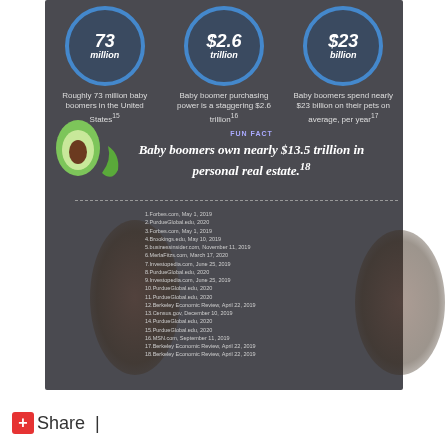[Figure (infographic): Dark panel infographic about baby boomers with three circular stats (73 million, $2.6 trillion, $23 billion), an avocado illustration, a fun fact about $13.5 trillion in personal real estate, and a footnotes reference list.]
73 million
Roughly 73 million baby boomers in the United States
$2.6 trillion
Baby boomer purchasing power is a staggering $2.6 trillion
$23 billion
Baby boomers spend nearly $23 billion on their pets on average, per year
FUN FACT
Baby boomers own nearly $13.5 trillion in personal real estate.
1.Forbes.com, May 1, 2019
2.PurdueGlobal.edu, 2020
3.Forbes.com, May 1, 2019
4.Brookings.edu, May 10, 2019
5.businessinsider.com, November 11, 2019
6.MerlaFitzs.com, March 17, 2020
7.Investopedia.com, June 25, 2019
8.PurdueGlobal.edu, 2020
9.Investopedia.com, June 25, 2019
10.PurdueGlobal.edu, 2020
11.PurdueGlobal.edu, 2020
12.Berkeley Economic Review, April 22, 2019
13.Census.gov, December 10, 2019
14.PurdueGlobal.edu, 2020
15.PurdueGlobal.edu, 2020
16.MSN.com, September 11, 2019
17.Berkeley Economic Review, April 22, 2019
18.Berkeley Economic Review, April 22, 2019
Share |